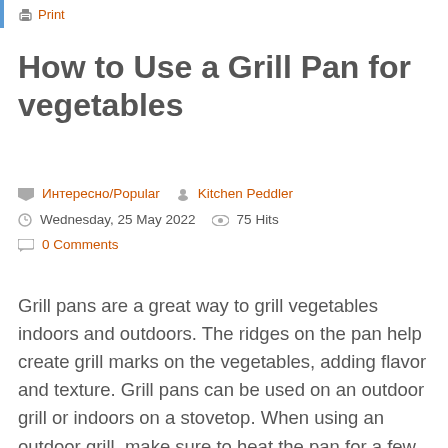Print
How to Use a Grill Pan for vegetables
Интересно/Popular   Kitchen Peddler
Wednesday, 25 May 2022   75 Hits
0 Comments
Grill pans are a great way to grill vegetables indoors and outdoors. The ridges on the pan help create grill marks on the vegetables, adding flavor and texture. Grill pans can be used on an outdoor grill or indoors on a stovetop. When using an outdoor grill, make sure to heat the pan for a few minutes before adding the vegetables to prevent them from sticking. When using a stovetop, use medium-high